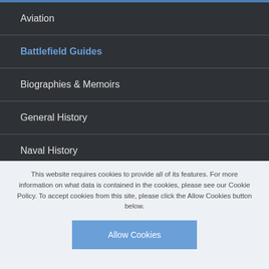Aviation
Battlefield Guides
Biographies & Memoirs
General History
Naval History
This website requires cookies to provide all of its features. For more information on what data is contained in the cookies, please see our Cookie Policy. To accept cookies from this site, please click the Allow Cookies button below.
Allow Cookies